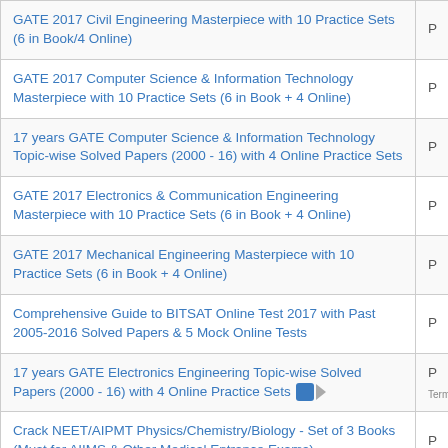| Title | P |
| --- | --- |
| GATE 2017 Civil Engineering Masterpiece with 10 Practice Sets (6 in Book/4 Online) | P |
| GATE 2017 Computer Science & Information Technology Masterpiece with 10 Practice Sets (6 in Book + 4 Online) | P |
| 17 years GATE Computer Science & Information Technology Topic-wise Solved Papers (2000 - 16) with 4 Online Practice Sets | P |
| GATE 2017 Electronics & Communication Engineering Masterpiece with 10 Practice Sets (6 in Book + 4 Online) | P |
| GATE 2017 Mechanical Engineering Masterpiece with 10 Practice Sets (6 in Book + 4 Online) | P |
| Comprehensive Guide to BITSAT Online Test 2017 with Past 2005-2016 Solved Papers & 5 Mock Online Tests | P |
| 17 years GATE Electronics Engineering Topic-wise Solved Papers (2000 - 16) with 4 Online Practice Sets | P |
| Crack NEET/AIPMT Physics/Chemistry/Biology - Set of 3 Books (Must for AIIMS & Other Medical Entrance Exams) | P |